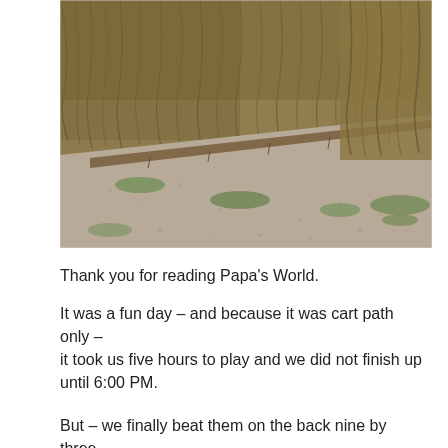[Figure (photo): Outdoor photo of a gravel cart path running diagonally across the frame, bordered by tall dry brown grass (ornamental grasses or reeds) on both sides, with some green low-growing plants on the gravel. A wooden plank or railroad tie is visible along the path edge. The scene looks like a golf course rough or nature trail.]
Thank you for reading Papa’s World.
It was a fun day – and because it was cart path only –
it took us five hours to play and we did not finish up until 6:00 PM.
But – we finally beat them on the back nine by three strokes and it was a had doing that h...